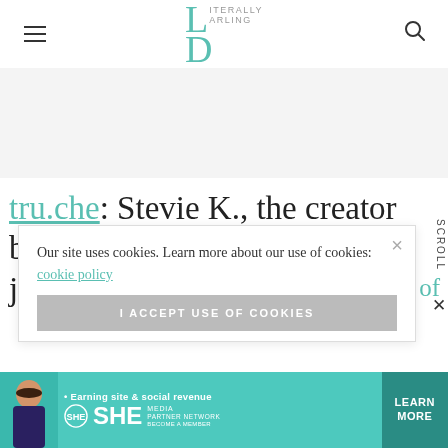Literally Darling
tru.che: Stevie K., the creator behind tru.che, quit her day job to live her passion (and we totally respect!). States of
Our site uses cookies. Learn more about our use of cookies: cookie policy
I ACCEPT USE OF COOKIES
[Figure (infographic): SHE Partner Network advertisement banner: Earning site & social revenue, LEARN MORE, BECOME A MEMBER]
SCROLL